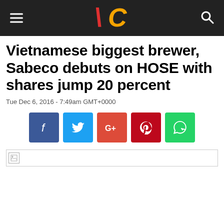VC (Vietnam Capital / VietnamCredit logo)
Vietnamese biggest brewer, Sabeco debuts on HOSE with shares jump 20 percent
Tue Dec 6, 2016 - 7:49am GMT+0000
[Figure (other): Social sharing buttons: Facebook, Twitter, Google+, Pinterest, WhatsApp]
[Figure (photo): Broken/loading image placeholder]